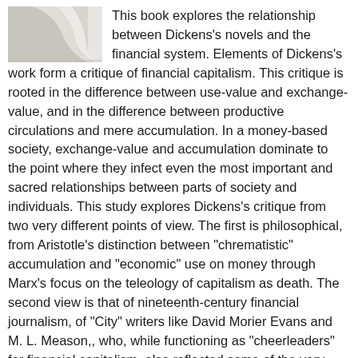[Figure (photo): Partial view of a book cover showing pages curling, in grayscale/light colors]
This book explores the relationship between Dickens's novels and the financial system. Elements of Dickens's work form a critique of financial capitalism. This critique is rooted in the difference between use-value and exchange-value, and in the difference between productive circulations and mere accumulation. In a money-based society, exchange-value and accumulation dominate to the point where they infect even the most important and sacred relationships between parts of society and individuals. This study explores Dickens's critique from two very different points of view. The first is philosophical, from Aristotle's distinction between "chrematistic" accumulation and "economic" use on money through Marx's focus on the teleology of capitalism as death. The second view is that of nineteenth-century financial journalism, of "City" writers like David Morier Evans and M. L. Meason,, who, while functioning as "cheerleaders" for financial capitalism, also reflected some of the very real "dis-ease" associated with capital formation and accumulation. The core concepts of this critique are constant in the novels,